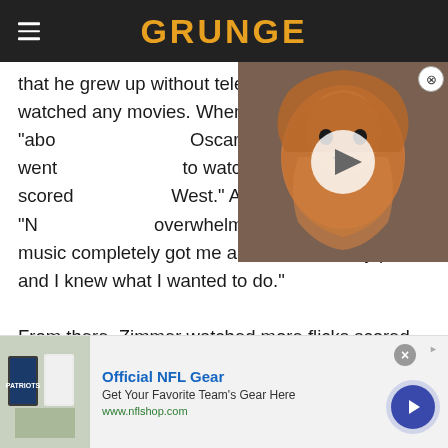GRUNGE
that he grew up without television and never watched any movies. When he was "abo... Oscar-winning composer went... to watch the Morricone-scored... West." As Zimmer explains, "No... overwhelming experience but the music completely got me and set me on my path and I knew what I wanted to do."
[Figure (photo): Video thumbnail showing a woman with curly red/auburn hair, with a play button overlay and close button]
From there, Zimmer watched more flicks scored by Morricone, and noticed that his idol was influenced by
[Figure (other): Advertisement for Official NFL Gear - Get Your Favorite Team's Gear Here, www.nflshop.com, with NFL jerseys image on left and blue arrow button on right]